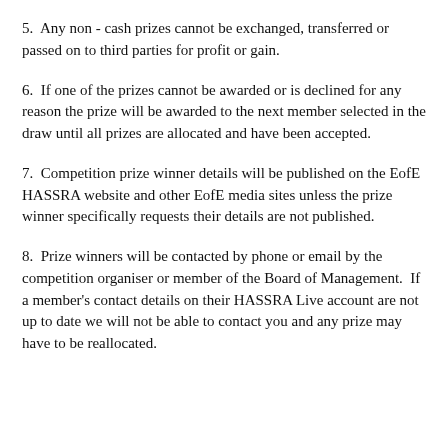5.  Any non - cash prizes cannot be exchanged, transferred or passed on to third parties for profit or gain.
6.  If one of the prizes cannot be awarded or is declined for any reason the prize will be awarded to the next member selected in the draw until all prizes are allocated and have been accepted.
7.  Competition prize winner details will be published on the EofE HASSRA website and other EofE media sites unless the prize winner specifically requests their details are not published.
8.  Prize winners will be contacted by phone or email by the competition organiser or member of the Board of Management.  If a member's contact details on their HASSRA Live account are not up to date we will not be able to contact you and any prize may have to be reallocated.